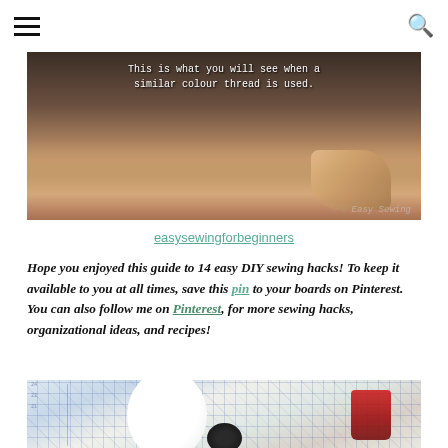[Figure (photo): Close-up photo of fabric being held with text overlay: 'This is what you will see when a similar colour thread is used.' with a watermark in the bottom right corner.]
easysewingforbeginners
Hope you enjoyed this guide to 14 easy DIY sewing hacks! To keep it available to you at all times, save this pin to your boards on Pinterest.  You can also follow me on Pinterest, for more sewing hacks, organizational ideas, and recipes!
[Figure (photo): Photo showing sewing supplies on a grid/ruler mat: a white spool or ball of thread, a red thimble or cup, and a dark spool in the foreground on a measuring grid background.]